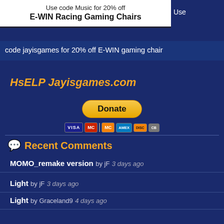Use code Music for 20% off E-WIN Racing Gaming Chairs
Use code jayisgames for 20% off E-WIN gaming chair
HsELP Jayisgames.com
[Figure (other): Donate button with PayPal and payment card icons (Visa, Mastercard, Maestro, Amex, Discover, and another card)]
Recent Comments
MOMO_remake version  by jF  3 days ago
Light  by jF  3 days ago
Light  by Graceland9  4 days ago
Light  by Krizpy  4 days ago
Weekday Escape N°355  by Graceland9  4 days ago